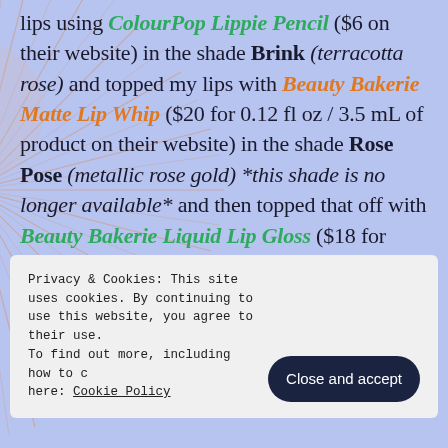lips using ColourPop Lippie Pencil ($6 on their website) in the shade Brink (terracotta rose) and topped my lips with Beauty Bakerie Matte Lip Whip ($20 for 0.12 fl oz / 3.5 mL of product on their website) in the shade Rose Pose (metallic rose gold) *this shade is no longer available* and then topped that off with Beauty Bakerie Liquid Lip Gloss ($18 for 0.12 fl oz / 3.5 mL of product on their website) in the shade 0.12 fl oz / 3.5 mL of product on their website) in the shade
Privacy & Cookies: This site uses cookies. By continuing to use this website, you agree to their use. To find out more, including how to c... here: Cookie Policy